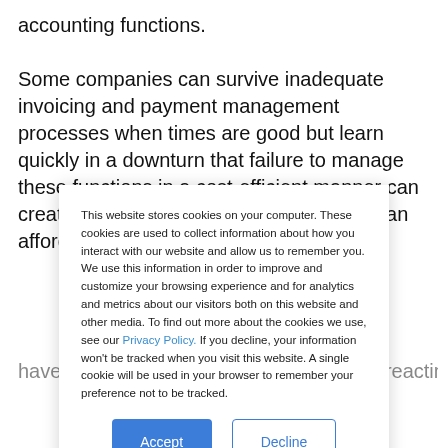accounting functions.

Some companies can survive inadequate invoicing and payment management processes when times are good but learn quickly in a downturn that failure to manage these functions in a cost-efficient manner can create a drag on the business that none can afford. Others that have excelled by going with their gut and reacting...
This website stores cookies on your computer. These cookies are used to collect information about how you interact with our website and allow us to remember you. We use this information in order to improve and customize your browsing experience and for analytics and metrics about our visitors both on this website and other media. To find out more about the cookies we use, see our Privacy Policy. If you decline, your information won't be tracked when you visit this website. A single cookie will be used in your browser to remember your preference not to be tracked.